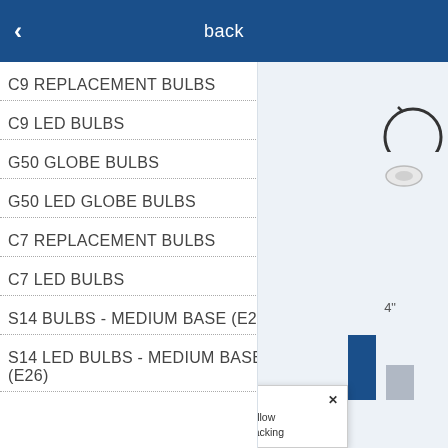back
C9 REPLACEMENT BULBS
C9 LED BULBS
G50 GLOBE BULBS
G50 LED GLOBE BULBS
C7 REPLACEMENT BULBS
C7 LED BULBS
S14 BULBS - MEDIUM BASE (E26)
S14 LED BULBS - MEDIUM BASE (E26)
Accept and Close ✕
. Click on this page to allow
opt out of this AdRoll tracking